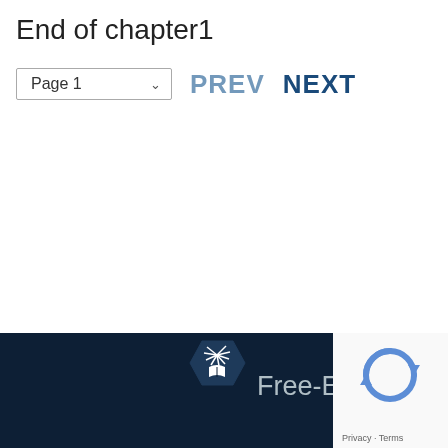End of chapter1
Page 1   PREV   NEXT
[Figure (logo): Free-Ebooks website footer with hexagonal logo containing an open book icon and the text 'Free-Ebo...' on a dark navy background, with a reCAPTCHA widget in the bottom right corner]